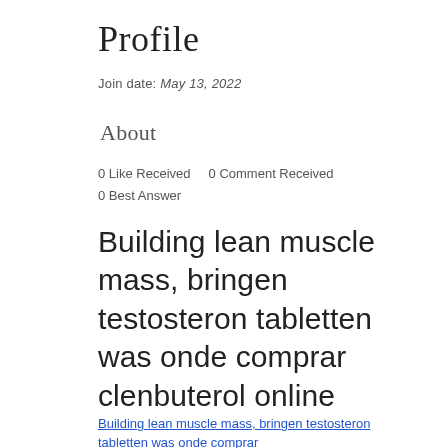Profile
Join date: May 13, 2022
About
0 Like Received    0 Comment Received
0 Best Answer
Building lean muscle mass, bringen testosteron tabletten was onde comprar clenbuterol online
Building lean muscle mass, bringen testosteron tabletten was onde comprar